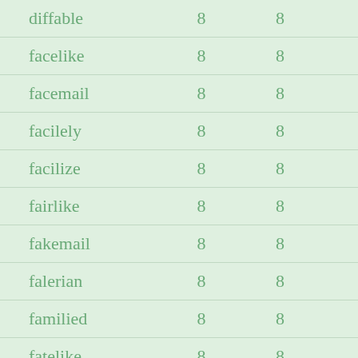| diffable | 8 | 8 |
| facelike | 8 | 8 |
| facemail | 8 | 8 |
| facilely | 8 | 8 |
| facilize | 8 | 8 |
| fairlike | 8 | 8 |
| fakemail | 8 | 8 |
| falerian | 8 | 8 |
| familied | 8 | 8 |
| fatelike | 8 | 8 |